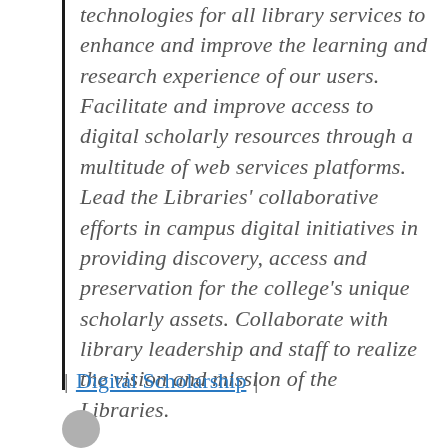technologies for all library services to enhance and improve the learning and research experience of our users. Facilitate and improve access to digital scholarly resources through a multitude of web services platforms. Lead the Libraries' collaborative efforts in campus digital initiatives in providing discovery, access and preservation for the college's unique scholarly assets. Collaborate with library leadership and staff to realize the vision and mission of the Libraries.
| Digital Scholarship |